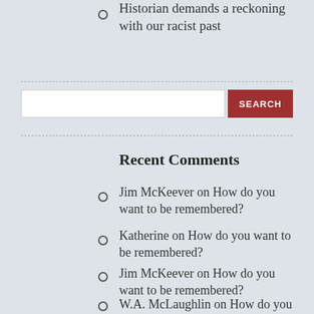Historian demands a reckoning with our racist past
Jim McKeever on How do you want to be remembered?
Katherine on How do you want to be remembered?
Jim McKeever on How do you want to be remembered?
W.A. McLaughlin on How do you
Recent Comments